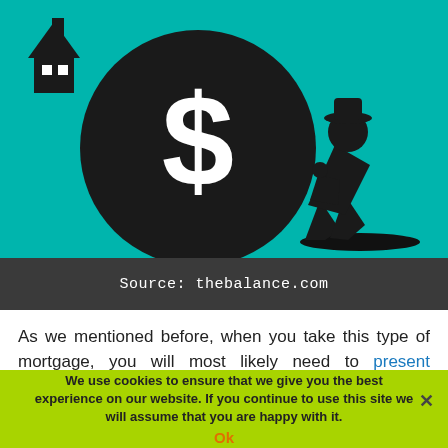[Figure (illustration): Silhouette of a person pushing a large black ball with a white dollar sign on it, against a teal/turquoise background with a small house silhouette in the upper left]
Source: thebalance.com
As we mentioned before, when you take this type of mortgage, you will most likely need to present collateral. That collateral is usually a vehicle or something else in your possession that is
We use cookies to ensure that we give you the best experience on our website. If you continue to use this site we will assume that you are happy with it.
Ok